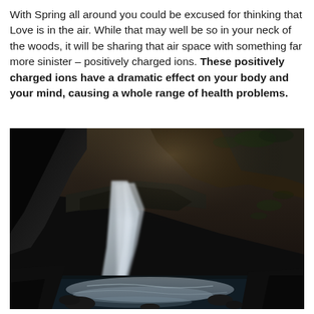With Spring all around you could be excused for thinking that Love is in the air. While that may well be so in your neck of the woods, it will be sharing that air space with something far more sinister – positively charged ions. These positively charged ions have a dramatic effect on your body and your mind, causing a whole range of health problems.
[Figure (photo): A photograph of a waterfall cascading over dark rocky terrain, with mist and flowing white water visible against dark stone and faint greenery.]